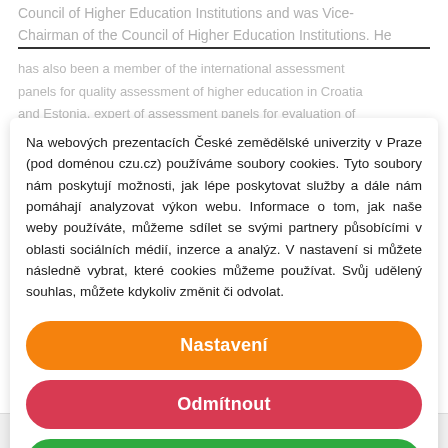Council of Higher Education Institutions and was Vice-Chairman of the Council of Higher Education Institutions. He has also been a member of the international assessment panels for quality assessment of higher education in Croatia and Estonia, expert of assessment panels for evaluation of study programmes, team leader and evaluator of Erasmus+ projects for the EACEA.
Na webových prezentacích České zemědělské univerzity v Praze (pod doménou czu.cz) používáme soubory cookies. Tyto soubory nám poskytují možnosti, jak lépe poskytovat služby a dále nám pomáhají analyzovat výkon webu. Informace o tom, jak naše weby používáte, můžeme sdílet se svými partnery působícími v oblasti sociálních médií, inzerce a analýz. V nastavení si můžete následně vybrat, které cookies můžeme používat. Svůj udělený souhlas, můžete kdykoliv změnit či odvolat.
Publications:
Nastavení
Odmítnout
Přijmout vše
English  /  ≡ Menu